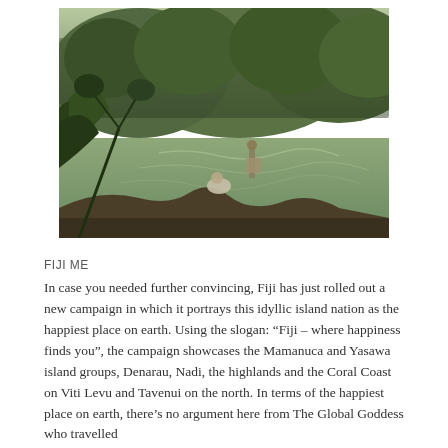[Figure (photo): Vintage sepia/black-and-white photograph of two people (one standing, one crouching) on the bank of a wide river or stream, surrounded by lush tropical vegetation and hills in the background.]
FIJI ME
In case you needed further convincing, Fiji has just rolled out a new campaign in which it portrays this idyllic island nation as the happiest place on earth. Using the slogan: “Fiji – where happiness finds you”, the campaign showcases the Mamanuca and Yasawa island groups, Denarau, Nadi, the highlands and the Coral Coast on Viti Levu and Tavenui on the north. In terms of the happiest place on earth, there’s no argument here from The Global Goddess who travelled